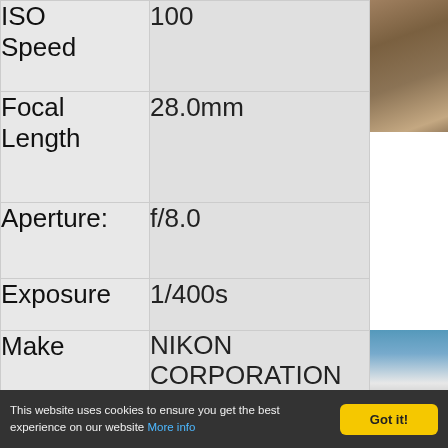| Field | Value |
| --- | --- |
| ISO Speed | 100 |
| Focal Length | 28.0mm |
| Aperture: | f/8.0 |
| Exposure | 1/400s |
[Figure (photo): Close-up photo of textured brown/tan surface, possibly sand or fabric]
| Field | Value |
| --- | --- |
| Make | NIKON CORPORATION |
[Figure (photo): Photo of a multi-story white building with rows of windows, blue sky at top]
This website uses cookies to ensure you get the best experience on our website More info  Got it!